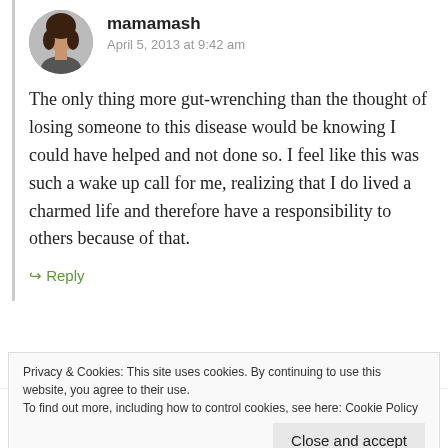[Figure (photo): Circular avatar photo of commenter mamamash, a woman with dark hair]
mamamash
April 5, 2013 at 9:42 am
The only thing more gut-wrenching than the thought of losing someone to this disease would be knowing I could have helped and not done so. I feel like this was such a wake up call for me, realizing that I do lived a charmed life and therefore have a responsibility to others because of that.
↳ Reply
Privacy & Cookies: This site uses cookies. By continuing to use this website, you agree to their use.
To find out more, including how to control cookies, see here: Cookie Policy
Close and accept
[Figure (photo): Circular avatar photo of commenter Leighann, a woman with glasses]
Leighann